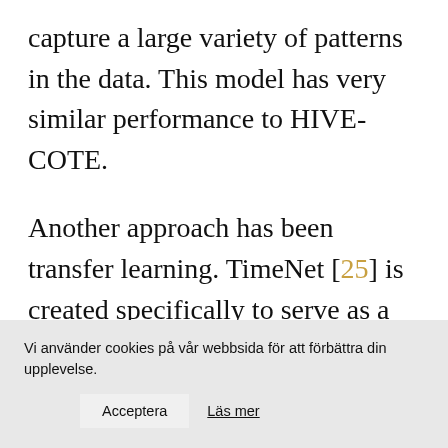capture a large variety of patterns in the data. This model has very similar performance to HIVE-COTE.
Another approach has been transfer learning. TimeNet [25] is created specifically to serve as a pretrained and publicly available time-series specific deep learning network for common use.
Vi använder cookies på vår webbsida för att förbättra din upplevelse.